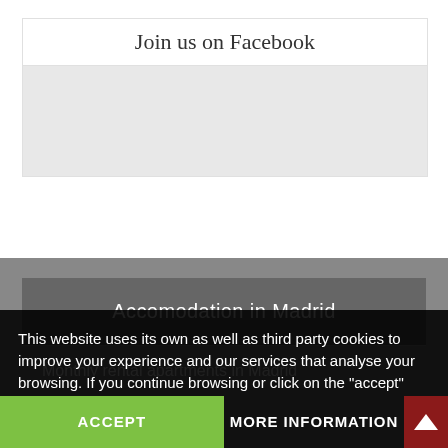Join us on Facebook
[Figure (other): Gray placeholder area inside the Facebook widget panel]
Accomodation in Madrid
Monthly rental apartments in Madrid
Yearly rental apartments in Madrid
This website uses its own as well as third party cookies to improve your experience and our services that analyse your browsing. If you continue browsing or click on the "accept" button you accept its use. You may prevent its installation, although it can cause navigational difficulties.
Contact Us
ACCEPT
MORE INFORMATION